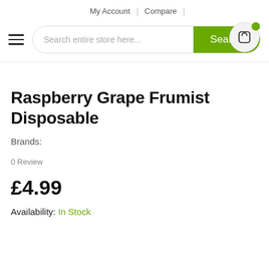My Account | Compare
Raspberry Grape Frumist Disposable
Brands:
0 Review
£4.99
Availability: In Stock